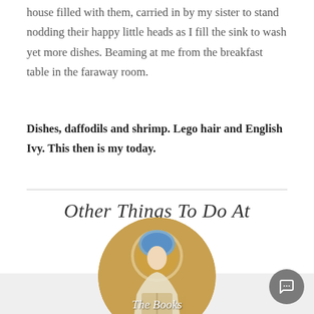house filled with them, carried in by my sister to stand nodding their happy little heads as I fill the sink to wash yet more dishes. Beaming at me from the breakfast table in the faraway room.
Dishes, daffodils and shrimp. Lego hair and English Ivy. This then is my today.
Other Things To Do At
[Figure (illustration): Circular profile image showing an Art Nouveau style illustration of a woman reading a book, wearing ornate clothing and headdress. Overlaid text reads 'The Books' in italic white script.]